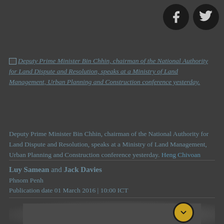[Figure (other): Facebook and Twitter social sharing icon buttons, dark circles, top right corner]
[Figure (photo): Broken image placeholder icon followed by italic caption: Deputy Prime Minister Bin Chhin, chairman of the National Authority for Land Dispute and Resolution, speaks at a Ministry of Land Management, Urban Planning and Construction conference yesterday.]
Deputy Prime Minister Bin Chhin, chairman of the National Authority for Land Dispute and Resolution, speaks at a Ministry of Land Management, Urban Planning and Construction conference yesterday. Heng Chivoan
Luy Samean and Jack Davies
Phnom Penh
Publication date 01 March 2016 | 10:00 ICT
[Figure (screenshot): Video player embed area, dark grey rectangle with a yellow/gold circular down-arrow button at top right]